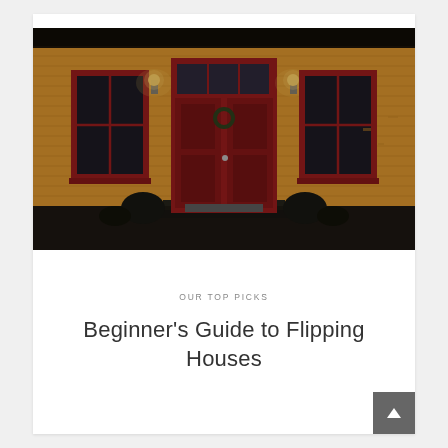[Figure (photo): Photograph of an old yellow wooden house exterior with a red front double door, two red-framed windows on either side, and two wall-mounted lantern lights. The paint on the house siding is peeling. Dark shrubs flank the entrance steps. Taken in low evening light.]
OUR TOP PICKS
Beginner’s Guide to Flipping Houses